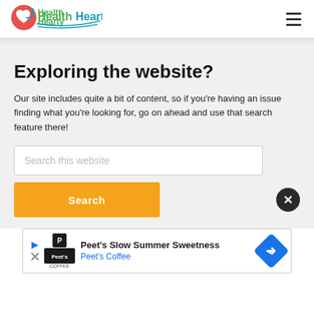[Figure (logo): HealthHearty logo with heart icon and teal/green text]
Exploring the website?
Our site includes quite a bit of content, so if you're having an issue finding what you're looking for, go on ahead and use that search feature there!
Search this website
Search
[Figure (screenshot): Peet's Coffee advertisement banner - Peet's Slow Summer Sweetness, Peet's Coffee]